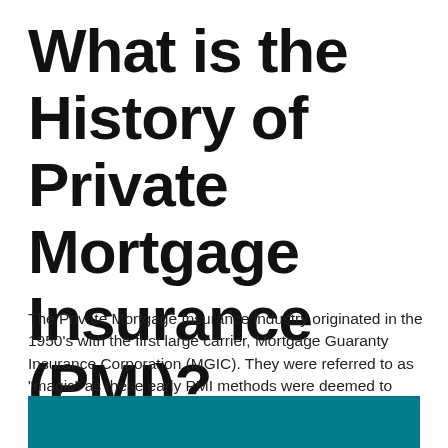What is the History of Private Mortgage Insurance (PMI)?
The Private Mortgage Insurance industry originated in the 1950's with the first large carrier, Mortgage Guaranty Insurance Corporation (MGIC). They were referred to as "magic" as these early PMI methods were deemed to "magically" assist in getting lender approval on otherwise unacceptable loan packages. Today there are 8 PMI underwriting companies in the United States.
[Figure (other): Teal/dark cyan decorative bar at the bottom of the page]